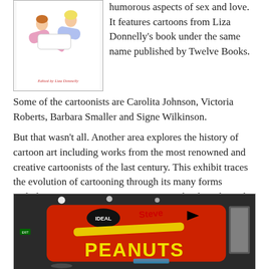[Figure (illustration): Book cover illustration showing two cartoon figures reclining, with text 'Edited by Liza Donnelly' at bottom]
humorous aspects of sex and love. It features cartoons from Liza Donnelly's book under the same name published by Twelve Books.
Some of the cartoonists are Carolita Johnson, Victoria Roberts, Barbara Smaller and Signe Wilkinson.
But that wasn't all. Another area explores the history of cartoon art including works from the most renowned and creative cartoonists of the last century. This exhibit traces the evolution of cartooning through its many forms including animation, comic strips, comic books, editorial cartoons, magazine cartoons, and underground cartoons.
Here, an American classic that became famous worldwide:
[Figure (photo): Photo of a red Peanuts tin/sign with 'IDEAL' logo and 'PEANUTS' text in yellow letters, displayed in what appears to be a museum exhibit]